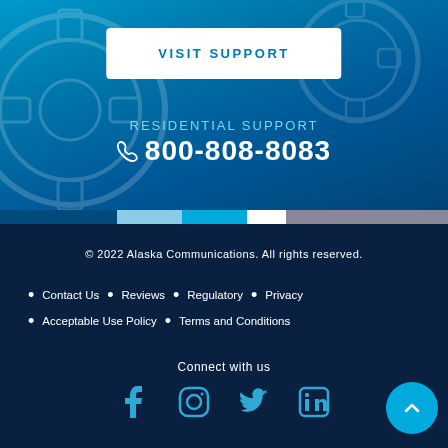VISIT SUPPORT
RESIDENTIAL SUPPORT
800-808-8083
© 2022 Alaska Communications. All rights reserved.
Contact Us
Reviews
Regulatory
Privacy
Acceptable Use Policy
Terms and Conditions
Connect with us
[Figure (other): Social media icons: Facebook, Instagram, Twitter, LinkedIn]